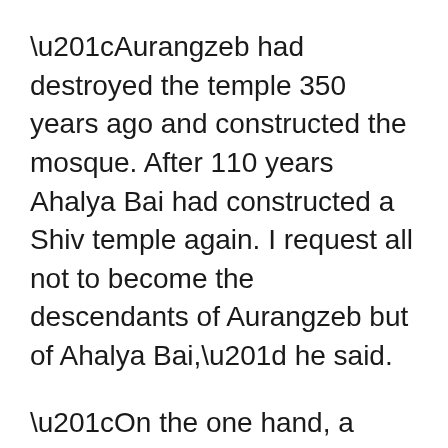“Aurangzeb had destroyed the temple 350 years ago and constructed the mosque. After 110 years Ahalya Bai had constructed a Shiv temple again. I request all not to become the descendants of Aurangzeb but of Ahalya Bai,” he said.
“On the one hand, a Shivling is found in Gyanvapi and at the same time, anti-national AIMIM MP Owaisi will pray before the grave of Aurangzeb. Why shouldn’t we call him an anti-national?” Eshwarappa maintained.
“Anti-nationals in the Congress party have not learnt their lessons yet. No one from the party...